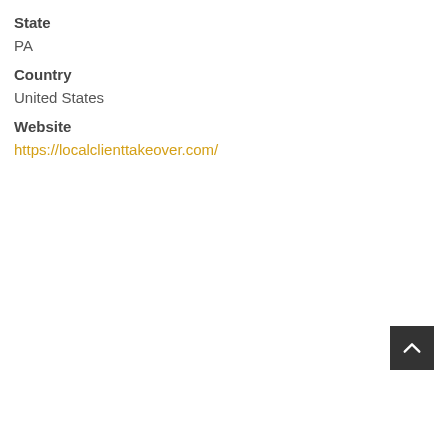State
PA
Country
United States
Website
https://localclienttakeover.com/
[Figure (other): Back to top button — dark square with upward chevron arrow]